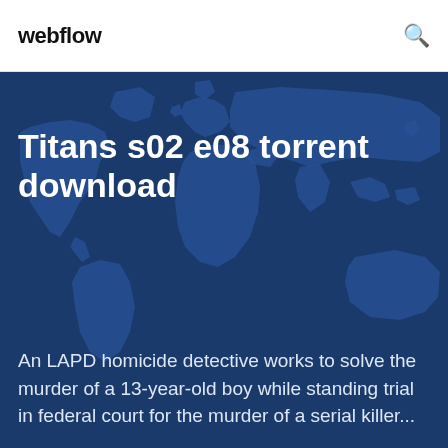webflow
Titans s02 e08 torrent download
An LAPD homicide detective works to solve the murder of a 13-year-old boy while standing trial in federal court for the murder of a serial killer...